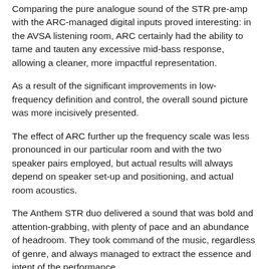Comparing the pure analogue sound of the STR pre-amp with the ARC-managed digital inputs proved interesting: in the AVSA listening room, ARC certainly had the ability to tame and tauten any excessive mid-bass response, allowing a cleaner, more impactful representation.
As a result of the significant improvements in low-frequency definition and control, the overall sound picture was more incisively presented.
The effect of ARC further up the frequency scale was less pronounced in our particular room and with the two speaker pairs employed, but actual results will always depend on speaker set-up and positioning, and actual room acoustics.
The Anthem STR duo delivered a sound that was bold and attention-grabbing, with plenty of pace and an abundance of headroom. They took command of the music, regardless of genre, and always managed to extract the essence and intent of the performance.
Soundstaging was expansive, affording the sound plenty of